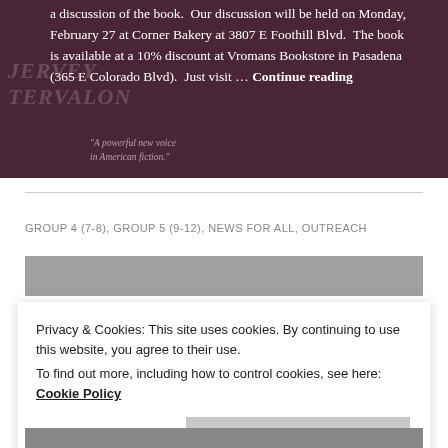[Figure (illustration): Book cover banner with dark maroon/burgundy background showing partial title text overlay and white text excerpt about a book discussion event.]
a discussion of the book. Our discussion will be held on Monday, February 27 at Corner Bakery at 3807 E Foothill Blvd. The book is available at a 10% discount at Vromans Bookstore in Pasadena (365 E Colorado Blvd). Just visit … Continue reading
GROUP 4 (7-8), GROUP 5 (9-12), NEWS FOR ALL, OUTREACH
Privacy & Cookies: This site uses cookies. By continuing to use this website, you agree to their use.
To find out more, including how to control cookies, see here:
Cookie Policy